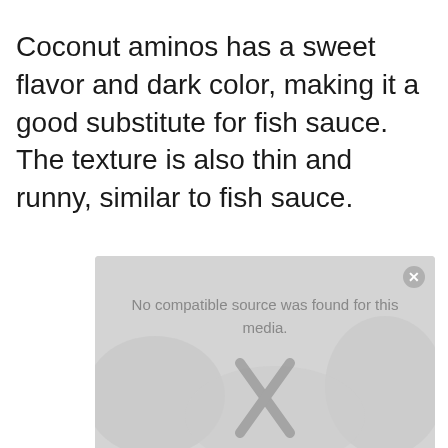Coconut aminos has a sweet flavor and dark color, making it a good substitute for fish sauce. The texture is also thin and runny, similar to fish sauce.
[Figure (other): A media player overlay with gray background showing 'No compatible source was found for this media.' message and a large X close button, partially showing an image behind.]